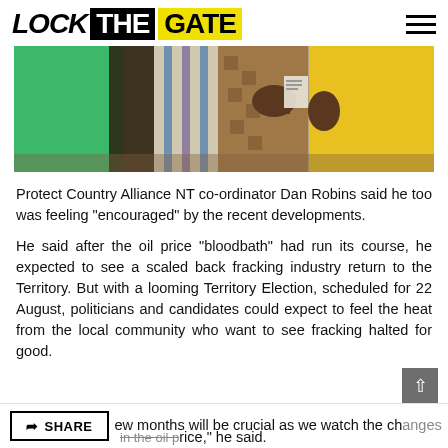LOCK THE GATE
[Figure (photo): Outdoor photograph showing people standing together, one wearing a green shirt on the left and another in a yellow shirt on the right, with patterned fabric/clothing visible in the background.]
Protect Country Alliance NT co-ordinator Dan Robins said he too was feeling “encouraged” by the recent developments.
He said after the oil price “bloodbath” had run its course, he expected to see a scaled back fracking industry return to the Territory. But with a looming Territory Election, scheduled for 22 August, politicians and candidates could expect to feel the heat from the local community who want to see fracking halted for good.
…ew months will be crucial as we watch the changes in the oil price,” he said.